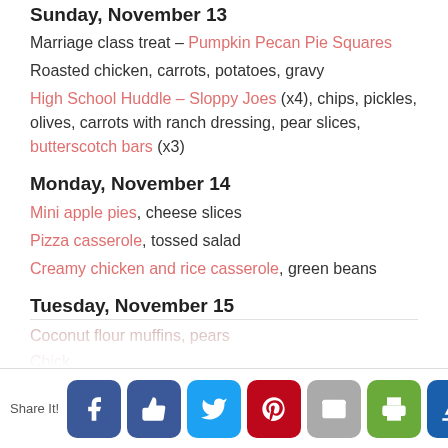Sunday, November 13
Marriage class treat – Pumpkin Pecan Pie Squares
Roasted chicken, carrots, potatoes, gravy
High School Huddle – Sloppy Joes (x4), chips, pickles, olives, carrots with ranch dressing, pear slices, butterscotch bars (x3)
Monday, November 14
Mini apple pies, cheese slices
Pizza casserole, tossed salad
Creamy chicken and rice casserole, green beans
Tuesday, November 15
Coconut flour muffins, pears
Chicken...
Share It! [Facebook] [Like] [Twitter] [Pinterest] [Mail] [Print] [Crown]